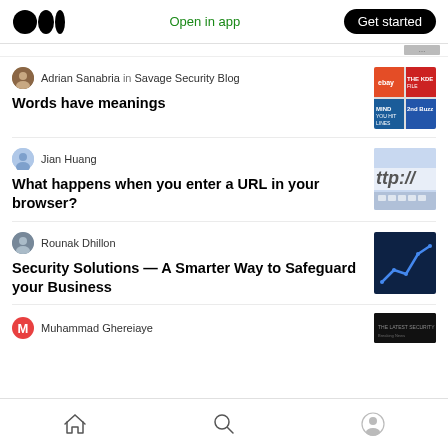Medium app header with logo, Open in app, Get started
Adrian Sanabria in Savage Security Blog
Words have meanings
Jian Huang
What happens when you enter a URL in your browser?
Rounak Dhillon
Security Solutions — A Smarter Way to Safeguard your Business
Muhammad Ghereiaye
Home | Search | Profile